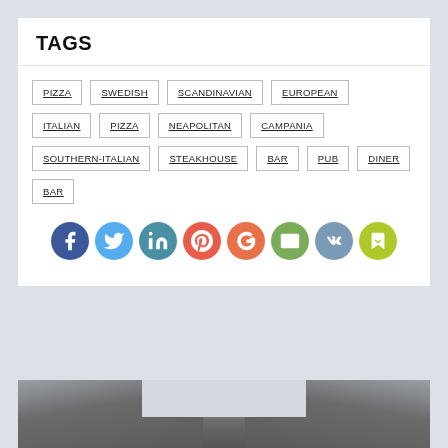TAGS
PIZZA
SWEDISH
SCANDINAVIAN
EUROPEAN
ITALIAN
PIZZA
NEAPOLITAN
CAMPANIA
SOUTHERN-ITALIAN
STEAKHOUSE
BAR
PUB
DINER
BAR
[Figure (infographic): Social media sharing icons in circles: Facebook (blue), Twitter (light blue), LinkedIn (teal-blue), Pinterest (red-orange), Google+ (orange-red), Email (olive-green), VK (grey-blue), Klout/bookmark (yellow-green)]
[Figure (photo): Partial view of rocky mountain cliff faces with grey sky between them]